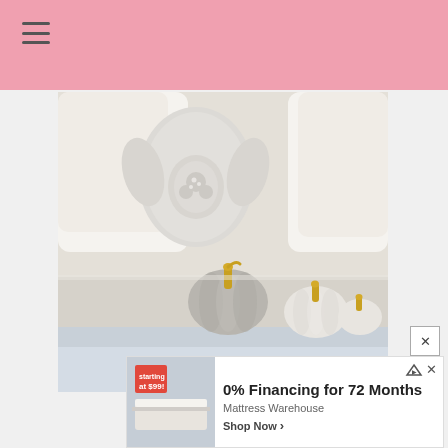[Figure (photo): Decorative white ceramic vase with ornate detailing flanked by white pillows, with three small pumpkins on a white shelf — one grey/silver with gold stem, one white with gold stem, one small white with gold stem.]
Ad  0% Financing for 72 Months  Mattress Warehouse  Shop Now
Ad